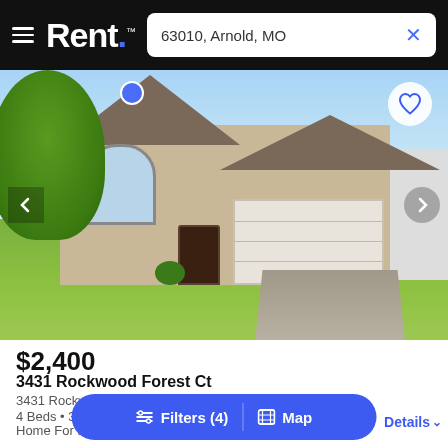[Figure (screenshot): Rent.com app header with hamburger menu, Rent. logo, and search box showing '63010, Arnold, MO' with an X button]
[Figure (photo): Exterior photo of a single-family home at 3431 Rockwood Forest Ct with a two-car garage, arched window, and green trees on a sunny day]
$2,400
3431 Rockwood Forest Ct
3431 Rockwood Forest Ct, Arnold, MO, 63010
4 Beds • 3
Home For R
[Figure (screenshot): Bottom action bar with 'Filters (4)' and 'Map' buttons in blue pill shape, and 'Details' link on the right]